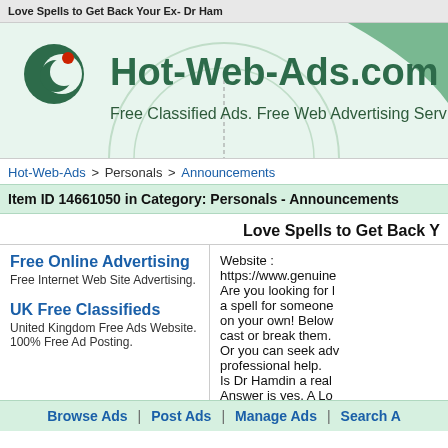Love Spells to Get Back Your Ex- Dr Ham
[Figure (logo): Hot-Web-Ads.com website header banner with logo icon and site title 'Hot-Web-Ads.com' and subtitle 'Free Classified Ads. Free Web Advertising Serv']
Hot-Web-Ads > Personals > Announcements
Item ID 14661050 in Category: Personals - Announcements
Love Spells to Get Back Y
Free Online Advertising
Free Internet Web Site Advertising.
UK Free Classifieds
United Kingdom Free Ads Website.
100% Free Ad Posting.
Website :
https://www.genuine
Are you looking for l
a spell for someone
on your own! Below
cast or break them.
Or you can seek adv
professional help.
Is Dr Hamdin a real
Answer is yes, A Lo
Browse Ads | Post Ads | Manage Ads | Search A